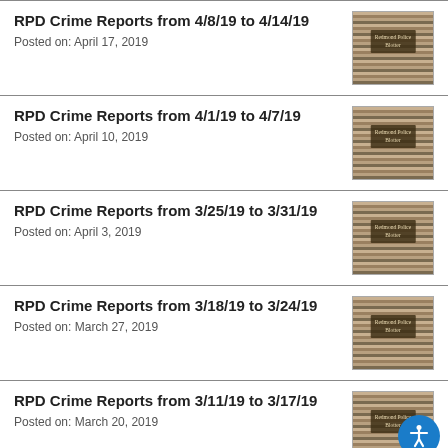RPD Crime Reports from 4/8/19 to 4/14/19
Posted on: April 17, 2019
RPD Crime Reports from 4/1/19 to 4/7/19
Posted on: April 10, 2019
RPD Crime Reports from 3/25/19 to 3/31/19
Posted on: April 3, 2019
RPD Crime Reports from 3/18/19 to 3/24/19
Posted on: March 27, 2019
RPD Crime Reports from 3/11/19 to 3/17/19
Posted on: March 20, 2019
RPD Crime Reports from 3/4/19 to 3/10/19